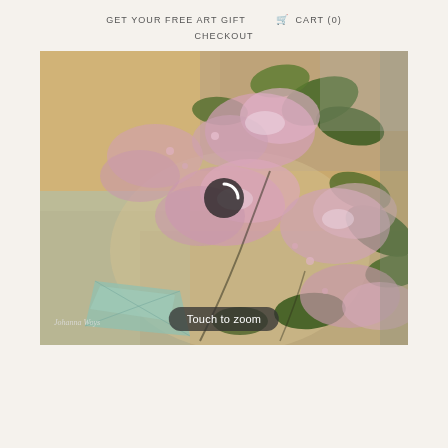GET YOUR FREE ART GIFT   🛒 CART (0)   CHECKOUT
[Figure (photo): Close-up painting of pink flowering lilac blossoms with green leaves, impressionistic oil painting style with warm golden and soft pastel tones. A loading spinner icon is visible in the center. Artist signature at bottom left reads 'Johanna Woys'. A 'Touch to zoom' badge is overlaid at the bottom center.]